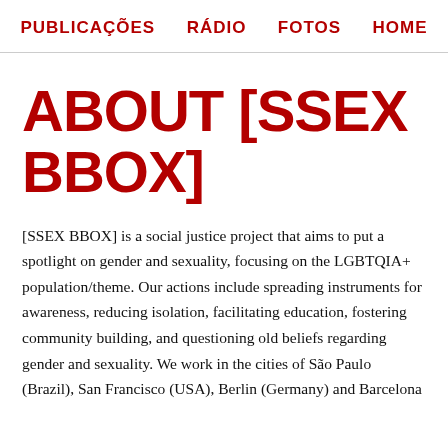PUBLICAÇÕES  RÁDIO  FOTOS  HOME
ABOUT [SSEX BBOX]
[SSEX BBOX] is a social justice project that aims to put a spotlight on gender and sexuality, focusing on the LGBTQIA+ population/theme. Our actions include spreading instruments for awareness, reducing isolation, facilitating education, fostering community building, and questioning old beliefs regarding gender and sexuality. We work in the cities of São Paulo (Brazil), San Francisco (USA), Berlin (Germany) and Barcelona